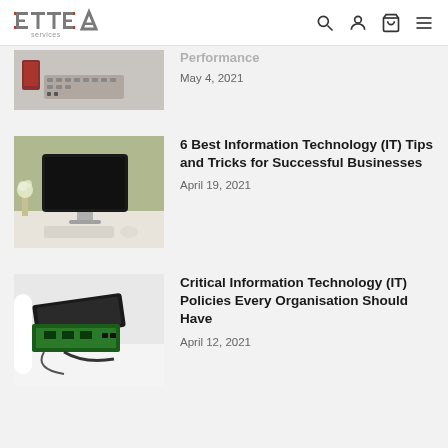ETTEA services — navigation header with search, user, cart, and menu icons
[Figure (photo): Partial article thumbnail showing a keyboard/computer peripherals image, partially cut off at top]
Performance (partially visible title)
May 4, 2021
[Figure (photo): Apple iMac desktop computer on a white desk with keyboard and mouse, green background visible]
6 Best Information Technology (IT) Tips and Tricks for Successful Businesses
April 19, 2021
[Figure (photo): Hard drives and external storage devices on a white surface]
Critical Information Technology (IT) Policies Every Organisation Should Have
April 12, 2021